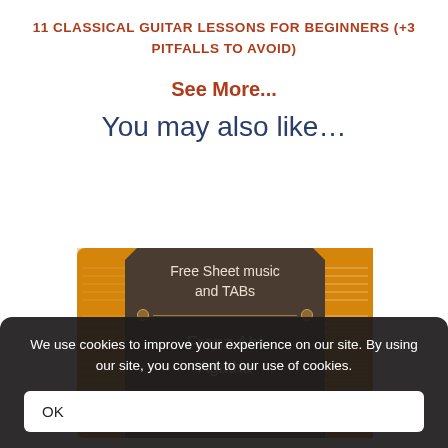11 CLASSICAL GUITAR LESSONS FOR BEGINNERS (+3 PITFALLS TO AVOID)
See More...
You may also like…
[Figure (illustration): A promotional card image for 'Free Sheet music and TABs' featuring composer Franz Abt, Agatha shown partially, on an orange background with a dark octagonal card overlay.]
We use cookies to improve your experience on our site. By using our site, you consent to our use of cookies.
OK